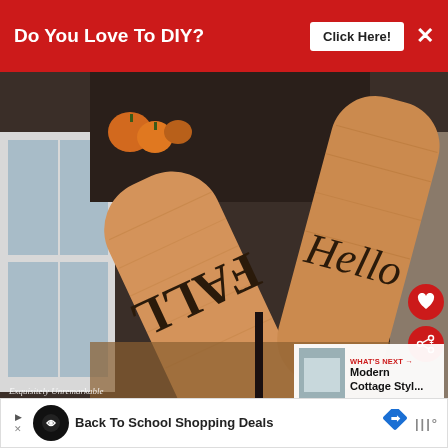[Figure (screenshot): Red banner advertisement: 'Do You Love To DIY? Click Here!' with an X close button]
[Figure (photo): Photo of two wooden paddle-shaped signs with 'FALL' and 'Hello' burned/painted text, leaning against a cabinet with orange pumpkins in background. Watermark: Exquisitely Unremarkable. Has heart and share buttons overlaid, and a 'What's Next' panel showing 'Modern Cottage Styl...']
in-store shopping
[Figure (screenshot): Advertisement bar: Back To School Shopping Deals with logos]